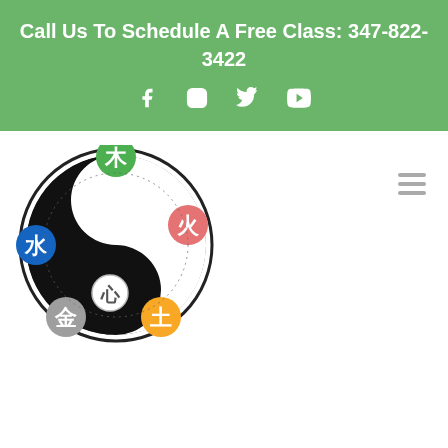Call Us To Schedule A Free Class: 347-822-3422
[Figure (logo): Yin-yang circular logo with five Chinese elemental symbols (木 wood-green, 水 water-blue, 火 fire-red, 心 heart-white, 金 metal-gray, 土 earth-yellow) arranged around a black yin-yang swirl inside a double circle border.]